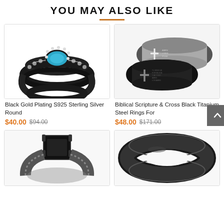YOU MAY ALSO LIKE
[Figure (photo): Black gold plating S925 sterling silver round cut blue gemstone ring with beaded halo detail]
Black Gold Plating S925 Sterling Silver Round
$40.00  $94.00
[Figure (photo): Biblical scripture and cross black titanium steel rings set for couples, two rings shown]
Biblical Scripture & Cross Black Titanium Steel Rings For
$48.00  $171.00
[Figure (photo): Black square cut gemstone ring with pave band set, partially visible at bottom]
[Figure (photo): Black matte titanium/tungsten men's band ring with groove detail, partially visible at bottom]